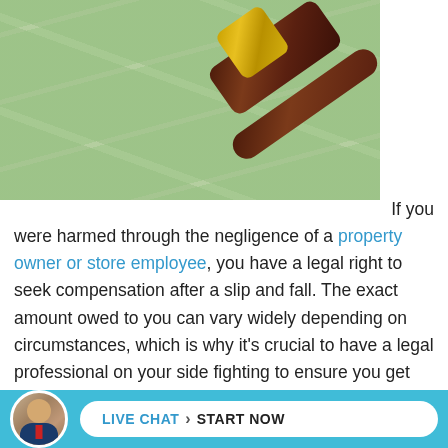[Figure (photo): Photo of a judge's gavel resting on top of scattered US $100 dollar bills]
If you were harmed through the negligence of a property owner or store employee, you have a legal right to seek compensation after a slip and fall. The exact amount owed to you can vary widely depending on circumstances, which is why it's crucial to have a legal professional on your side fighting to ensure you get
[Figure (infographic): Live chat button with avatar: LIVE CHAT > START NOW on blue bar at bottom]